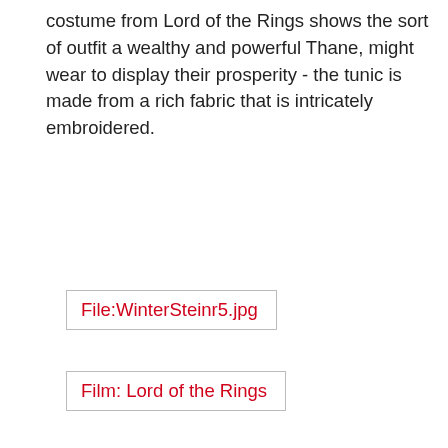costume from Lord of the Rings shows the sort of outfit a wealthy and powerful Thane, might wear to display their prosperity - the tunic is made from a rich fabric that is intricately embroidered.
[Figure (other): File reference box: File:WinterSteinr5.jpg]
[Figure (other): Caption box: Film: Lord of the Rings]
Kallavesi Clothing
Kallavesi clothing is the standard Wintermark tunic over trousers, often in a rougher woven fabric and embellished with furs and feathers. The Kallavesi wear furs with the fur side out. The Stormcrow mystic wears the traditional ragged but heavy cloak and a costume adorned with tatters of material and fetishes. Feathers in particular are important to the Kallavesi and the Kallavesi shamans in